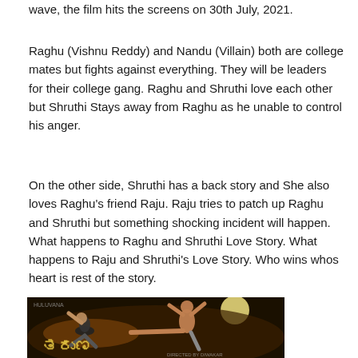wave, the film hits the screens on 30th July, 2021.
Raghu (Vishnu Reddy) and Nandu (Villain) both are college mates but fights against everything. They will be leaders for their college gang. Raghu and Shruthi love each other but Shruthi Stays away from Raghu as he unable to control his anger.
On the other side, Shruthi has a back story and She also loves Raghu's friend Raju. Raju tries to patch up Raghu and Shruthi but something shocking incident will happen. What happens to Raghu and Shruthi Love Story. What happens to Raju and Shruthi's Love Story. Who wins whos heart is rest of the story.
[Figure (photo): Movie poster image showing two male figures in a fighting pose against a dark background with moon, with Kannada script text (movie title) at the bottom and production details]